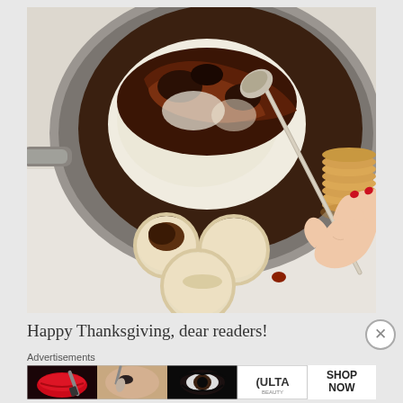[Figure (photo): Overhead view of a skillet or pot containing baked brie or cheese with caramelized toppings (likely figs or bacon), being scooped with a spoon by a hand with red nail polish. Round crackers are arranged on a white surface below the pan, and a stack of crackers is visible on the right side.]
Happy Thanksgiving, dear readers!
Advertisements
[Figure (photo): ULTA Beauty advertisement banner showing four panels: red lips with makeup brush, woman's face with brush, eye with dramatic makeup, ULTA Beauty logo, woman's eyes with dramatic makeup, and SHOP NOW text on white background.]